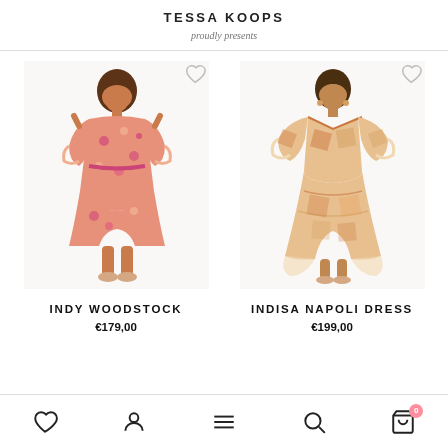TESSA KOOPS
proudly presents
[Figure (photo): Model wearing INDY WOODSTOCK dress - floral print wrap dress in pink and orange tones, mid-length]
INDY WOODSTOCK
€179,00
[Figure (photo): Model wearing INDISA NAPOLI DRESS - geometric print maxi dress in orange and cream tones with flowing skirt]
INDISA NAPOLI DRESS
€199,00
Navigation bar with wishlist, account, menu, search, and cart icons (cart badge: 0)